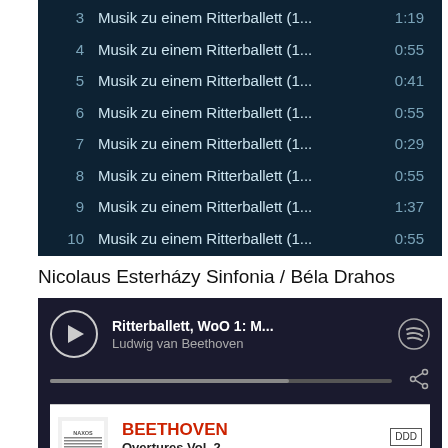| # | Title | Duration |
| --- | --- | --- |
| 3 | Musik zu einem Ritterballett (1... | 1:19 |
| 4 | Musik zu einem Ritterballett (1... | 0:55 |
| 5 | Musik zu einem Ritterballett (1... | 0:41 |
| 6 | Musik zu einem Ritterballett (1... | 0:55 |
| 7 | Musik zu einem Ritterballett (1... | 0:29 |
| 8 | Musik zu einem Ritterballett (1... | 0:55 |
| 9 | Musik zu einem Ritterballett (1... | 1:37 |
| 10 | Musik zu einem Ritterballett (1... | 0:55 |
Nicolaus Esterházy Sinfonia / Béla Drahos
[Figure (screenshot): Spotify player showing 'Ritterballett, WoO 1: M...' by Ludwig van Beethoven with play button, progress bar, and share icon]
[Figure (photo): NAXOS album cover strip showing BEETHOVEN Overtures Vol. 2, Die Weihe des Hauses, with DDD 8.553431 catalog number]